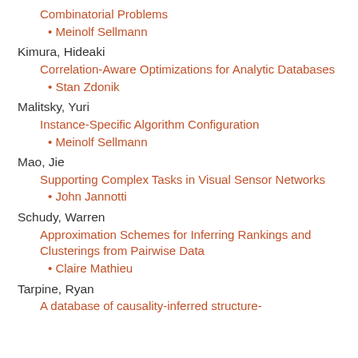Combinatorial Problems
• Meinolf Sellmann
Kimura, Hideaki
Correlation-Aware Optimizations for Analytic Databases
• Stan Zdonik
Malitsky, Yuri
Instance-Specific Algorithm Configuration
• Meinolf Sellmann
Mao, Jie
Supporting Complex Tasks in Visual Sensor Networks
• John Jannotti
Schudy, Warren
Approximation Schemes for Inferring Rankings and Clusterings from Pairwise Data
• Claire Mathieu
Tarpine, Ryan
A database of causality-inferred structure-